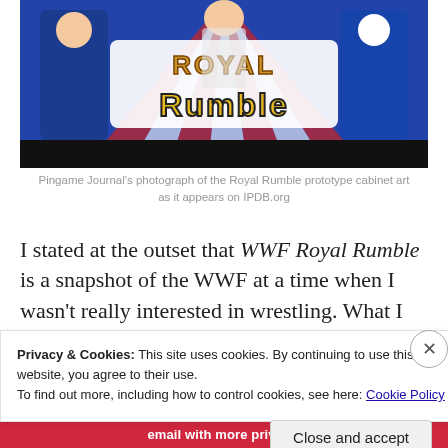[Figure (photo): Photograph of the Royal Rumble pinball machine prototype cabinet art showing 'Royal Rumble' text logo with wrestling characters and an eagle, on a blue background with red and white stripes.]
Pingame Journal's photograph of the Royal Rumble prototype cabinet art as it appears on IPDB.org
I stated at the outset that WWF Royal Rumble is a snapshot of the WWF at a time when I wasn't really interested in wrestling. What I wouldn't give for this game
Privacy & Cookies: This site uses cookies. By continuing to use this website, you agree to their use.
To find out more, including how to control cookies, see here: Cookie Policy
Close and accept